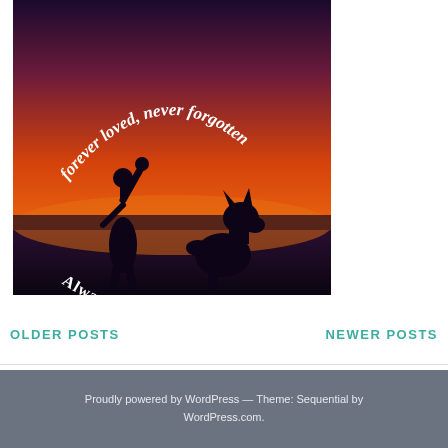[Figure (illustration): Sunset silhouette image of a woman and a sitting dog (German Shepherd) against an orange-red sky. Text overlaid in white script reads 'forever loved, never forgotten' arcing across the top, and 'Always in Our Hearts' arcing along the bottom.]
OLDER POSTS
NEWER POSTS
Proudly powered by WordPress — Theme: Sequential by WordPress.com.